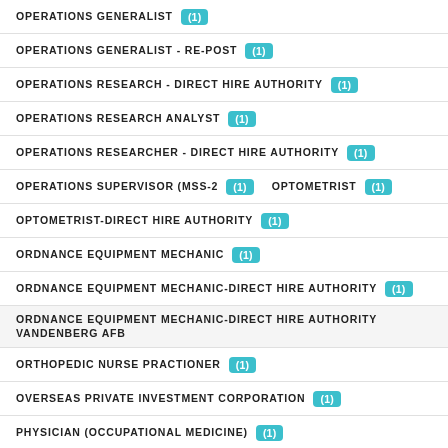OPERATIONS GENERALIST (1)
OPERATIONS GENERALIST - RE-POST (1)
OPERATIONS RESEARCH - DIRECT HIRE AUTHORITY (1)
OPERATIONS RESEARCH ANALYST (1)
OPERATIONS RESEARCHER - DIRECT HIRE AUTHORITY (1)
OPERATIONS SUPERVISOR (MSS-2 (1)   OPTOMETRIST (1)
OPTOMETRIST-DIRECT HIRE AUTHORITY (1)
ORDNANCE EQUIPMENT MECHANIC (1)
ORDNANCE EQUIPMENT MECHANIC-DIRECT HIRE AUTHORITY (1)
ORDNANCE EQUIPMENT MECHANIC-DIRECT HIRE AUTHORITY VANDENBERG AFB
ORTHOPEDIC NURSE PRACTIONER (1)
OVERSEAS PRIVATE INVESTMENT CORPORATION (1)
PHYSICIAN (OCCUPATIONAL MEDICINE) (1)